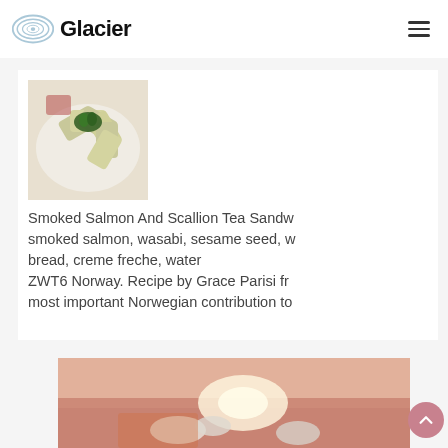Glacier
[Figure (photo): Plate of smoked salmon and scallion tea sandwiches arranged in a ring with green garnish on top]
Smoked Salmon And Scallion Tea Sandw... smoked salmon, wasabi, sesame seed, w... bread, creme freche, water
ZWT6 Norway. Recipe by Grace Parisi fr... most important Norwegian contribution to...
[Figure (photo): Bottom portion of a food photo with warm sunset tones showing what appears to be shellfish or seafood]